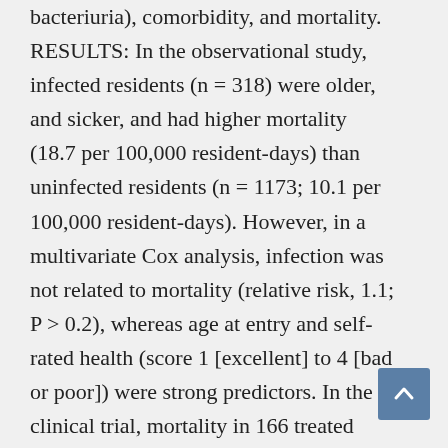bacteriuria), comorbidity, and mortality. RESULTS: In the observational study, infected residents (n = 318) were older, and sicker, and had higher mortality (18.7 per 100,000 resident-days) than uninfected residents (n = 1173; 10.1 per 100,000 resident-days). However, in a multivariate Cox analysis, infection was not related to mortality (relative risk, 1.1; P > 0.2), whereas age at entry and self-rated health (score 1 [excellent] to 4 [bad or poor]) were strong predictors. In the clinical trial, mortality in 166 treated residents (13.8 per 100,000 resident-days) was comparable to that of 192 untreated residents (15.1 per 100,000 resident-days); the relative rate was 0.92 (95% CI,